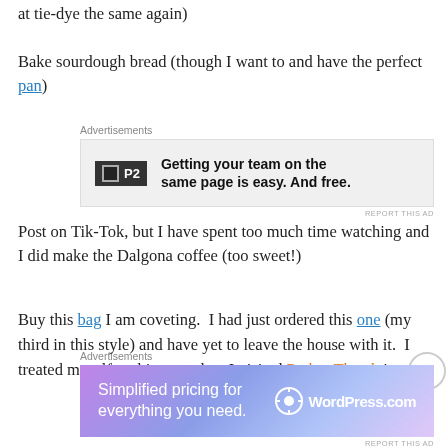at tie-dye the same again)
Bake sourdough bread (though I want to and have the perfect pan)
[Figure (screenshot): Advertisement for P2 - Getting your team on the same page is easy. And free.]
Post on Tik-Tok, but I have spent too much time watching and I did make the Dalgona coffee (too sweet!)
Buy this bag I am coveting. I had just ordered this one (my third in this style) and have yet to leave the house with it. I treated myself to this one when I visited Parker Thatch in
[Figure (screenshot): Advertisement for WordPress.com - Simplified pricing for everything you need.]